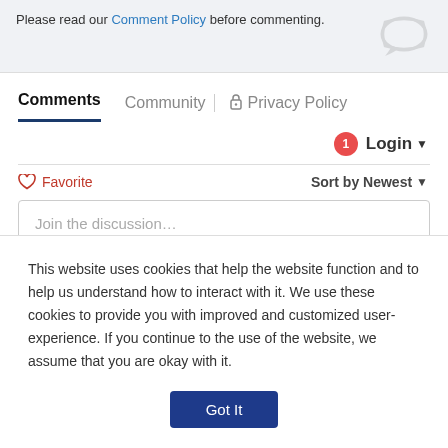Please read our Comment Policy before commenting.
Comments | Community | Privacy Policy
Login
♡ Favorite   Sort by Newest
Join the discussion…
LOG IN WITH
[Figure (logo): Social login icons: Disqus, Facebook, Twitter, Google]
This website uses cookies that help the website function and to help us understand how to interact with it. We use these cookies to provide you with improved and customized user-experience. If you continue to the use of the website, we assume that you are okay with it.
Got It